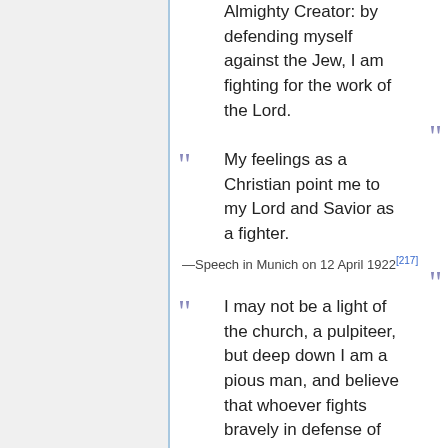Almighty Creator: by defending myself against the Jew, I am fighting for the work of the Lord.
My feelings as a Christian point me to my Lord and Savior as a fighter.
—Speech in Munich on 12 April 1922[217]
I may not be a light of the church, a pulpiteer, but deep down I am a pious man, and believe that whoever fights bravely in defense of the natural laws framed by God and never capitulates will never be